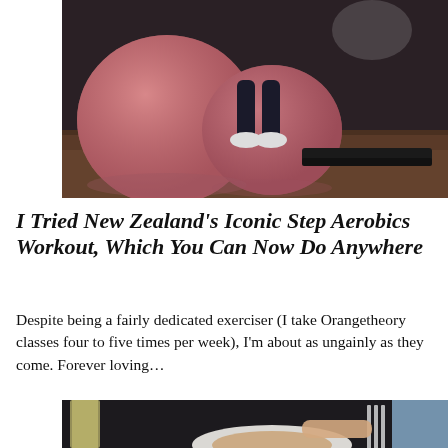[Figure (photo): Person sitting on a step aerobics platform in a gym with large pink exercise balls in the background, wearing black leggings and white sneakers]
I Tried New Zealand's Iconic Step Aerobics Workout, Which You Can Now Do Anywhere
Despite being a fairly dedicated exerciser (I take Orangetheory classes four to five times per week), I'm about as ungainly as they come. Forever loving…
[Figure (photo): Person dining at a restaurant, holding cutlery over a plate of food with a glass of white wine visible]